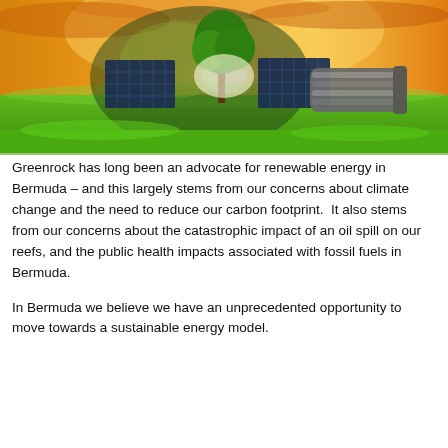[Figure (photo): A large lightbulb lying on green grass with solar panels inside it and a tree growing from it, set against a bright golden sunset sky — symbolic of renewable/sustainable energy.]
Greenrock has long been an advocate for renewable energy in Bermuda – and this largely stems from our concerns about climate change and the need to reduce our carbon footprint.  It also stems from our concerns about the catastrophic impact of an oil spill on our reefs, and the public health impacts associated with fossil fuels in Bermuda.
In Bermuda we believe we have an unprecedented opportunity to move towards a sustainable energy model.